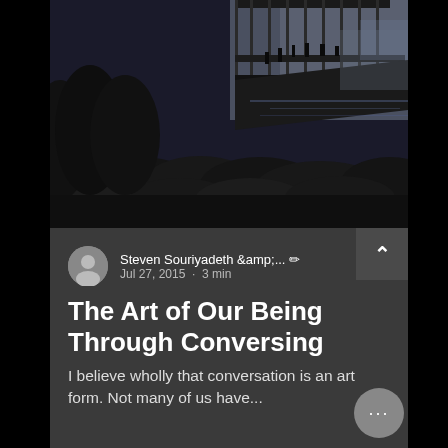[Figure (photo): Dark waterfront scene with a wooden pier/dock structure, rocks along the shoreline, and calm water in the background at dusk/twilight]
Steven Souriyadeth &amp;... ✏
Jul 27, 2015 · 3 min
The Art of Our Being Through Conversing
I believe wholly that conversation is an art form. Not many of us have...